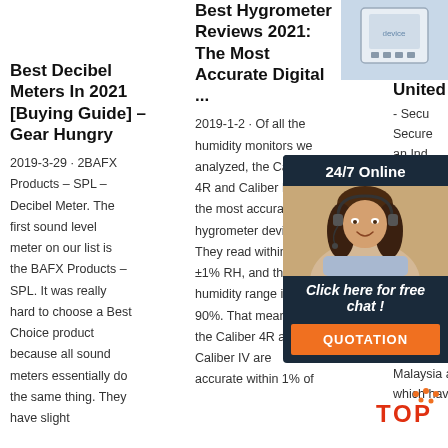[Figure (photo): Product image top right - appears to be a white device/meter]
Best Decibel Meters In 2021 [Buying Guide] – Gear Hungry
2019-3-29 · 2BAFX Products – SPL – Decibel Meter. The first sound level meter on our list is the BAFX Products – SPL. It was really hard to choose a Best Choice product because all sound meters essentially do the same thing. They have slight
Best Hygrometer Reviews 2021: The Most Accurate Digital ...
2019-1-2 · Of all the humidity monitors we analyzed, the Caliber 4R and Caliber IV are the most accurate hygrometer devices. They read within ±1% RH, and the humidity range is 20-90%. That means that the Caliber 4R and Caliber IV are accurate within 1% of
United Kingdom
- Secu... Secure... an Ind... multin... private... busine... operat... Bangla... Austra... Italy and the Middle East. We also have two manufacturing partnerships in Malaysia and Ghana, which have enabled
[Figure (photo): Chat widget with female customer service agent wearing headset. Dark navy background with '24/7 Online' header, 'Click here for free chat!' text, and orange QUOTATION button.]
[Figure (logo): TOP logo with orange dots and text]